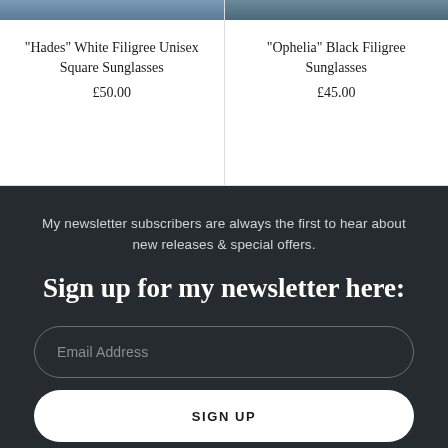"Hades" White Filigree Unisex Square Sunglasses
£50.00
"Ophelia" Black Filigree Sunglasses
£45.00
My newsletter subscribers are always the first to hear about new releases & special offers.
Sign up for my newsletter here:
Email Address
SIGN UP